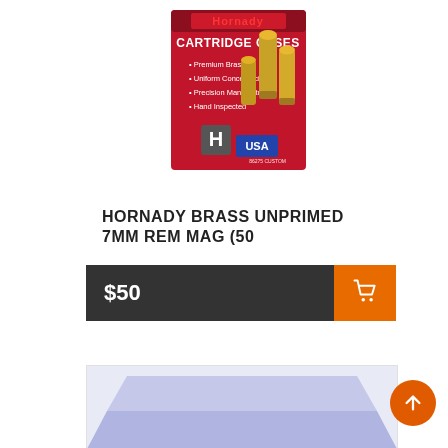[Figure (photo): Hornady Cartridge Cases product box - red box with brass cartridge cases shown, labeled Premium Brass, Uniform Concentricity, Precision Manufactured, Hand Inspected, with USA flag logo]
HORNADY BRASS UNPRIMED 7MM REM MAG (50
$50
[Figure (photo): Partial view of a second product with blue/grey packaging, bottom portion visible]